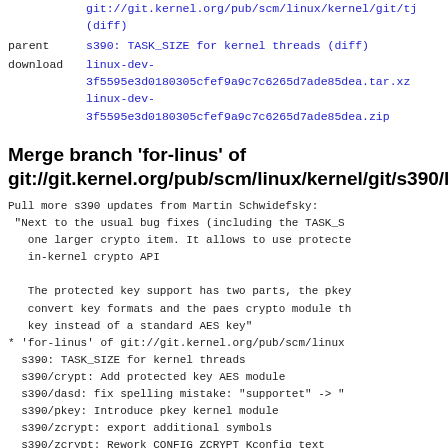git://git.kernel.org/pub/scm/linux/kernel/git/tj (diff)
parent   s390: TASK_SIZE for kernel threads (diff)
download linux-dev-3f5595e3d0180305cfef9a9c7c6265d7ade85dea.tar.xz
linux-dev-3f5595e3d0180305cfef9a9c7c6265d7ade85dea.zip
Merge branch 'for-linus' of git://git.kernel.org/pub/scm/linux/kernel/git/s390/linu
Pull more s390 updates from Martin Schwidefsky:
 "Next to the usual bug fixes (including the TASK_S one larger crypto item. It allows to use protecte in-kernel crypto API

 The protected key support has two parts, the pkey convert key formats and the paes crypto module th key instead of a standard AES key"
* 'for-linus' of git://git.kernel.org/pub/scm/linux s390: TASK_SIZE for kernel threads
s390/crypt: Add protected key AES module
s390/dasd: fix spelling mistake: "supportet" ->
s390/pkey: Introduce pkey kernel module
s390/zcrypt: export additional symbols
s390/zcrypt: Rework CONFIG_ZCRYPT_Kconfig text